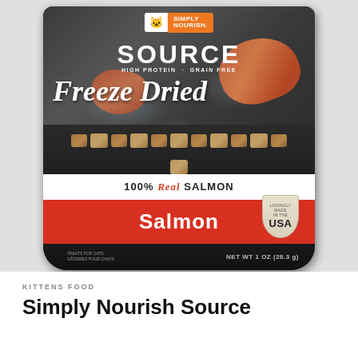[Figure (photo): Product packaging for Simply Nourish Source Freeze Dried Salmon cat treats. Dark resealable bag with ice and salmon imagery, orange Simply Nourish logo, 'SOURCE' in large white text, 'HIGH PROTEIN • GRAIN FREE', 'Freeze Dried' in script, freeze-dried salmon nuggets shown, white band with '100% Real SALMON', red/orange band with 'Salmon' text, 'Lovingly Made in the USA' shield badge, and 'NET WT 1 OZ (28.3 g)' at bottom.]
KITTENS FOOD
Simply Nourish Source